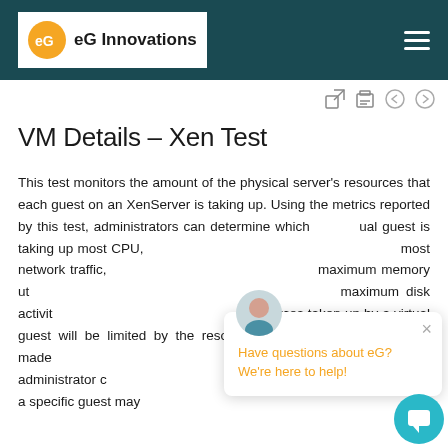eG Innovations
VM Details – Xen Test
This test monitors the amount of the physical server's resources that each guest on an XenServer is taking up. Using the metrics reported by this test, administrators can determine which virtual guest is taking up most CPU, most network traffic, maximum memory utilization, maximum disk activity resources taken up by a virtual guest will be limited by the resource allocations that have been made administrators. For example, an administrator can cap the amount of memory that a specific guest may